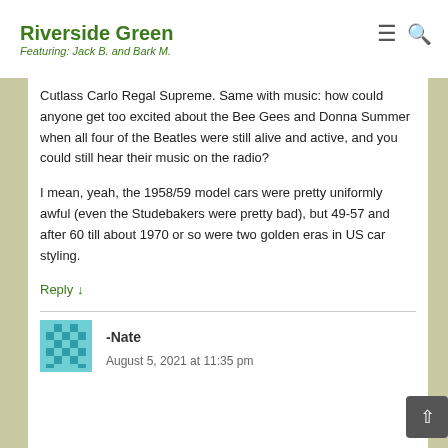Riverside Green — Featuring: Jack B. and Bark M.
Cutlass Carlo Regal Supreme. Same with music: how could anyone get too excited about the Bee Gees and Donna Summer when all four of the Beatles were still alive and active, and you could still hear their music on the radio?
I mean, yeah, the 1958/59 model cars were pretty uniformly awful (even the Studebakers were pretty bad), but 49-57 and after 60 till about 1970 or so were two golden eras in US car styling.
Reply ↓
-Nate
August 5, 2021 at 11:35 pm